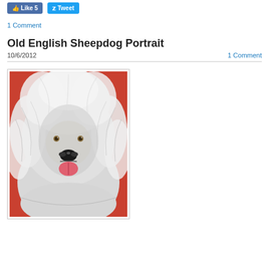[Figure (other): Facebook Like button (5 likes) and Twitter Tweet button]
1 Comment
Old English Sheepdog Portrait
10/6/2012
1 Comment
[Figure (illustration): Painting of an Old English Sheepdog with fluffy white and gray fur, smiling with tongue out, on a red background]